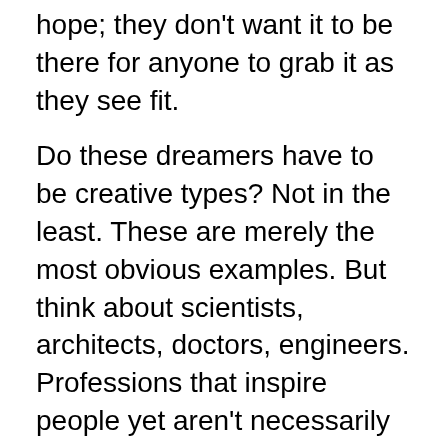hope; they don't want it to be there for anyone to grab it as they see fit.
Do these dreamers have to be creative types? Not in the least. These are merely the most obvious examples. But think about scientists, architects, doctors, engineers. Professions that inspire people yet aren't necessarily the first anyone considers. Still, these folks had a dream, and it's this dream that led to choosing these careers and passions.
We need to inspire girls, especially to keep the dreamers alive. I'm considering the implications of the aforementioned professions.